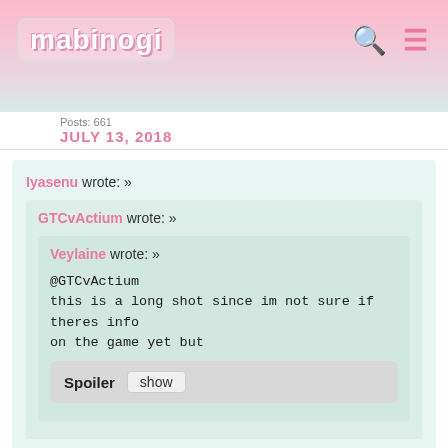mabinogi
Posts: 661
JULY 13, 2018
Iyasenu wrote: »
GTCvActium wrote: »
Veylaine wrote: »
@GTCvActium
this is a long shot since im not sure if theres info on the game yet but
Spoiler  show
Spoiler  show
Spoiler  show